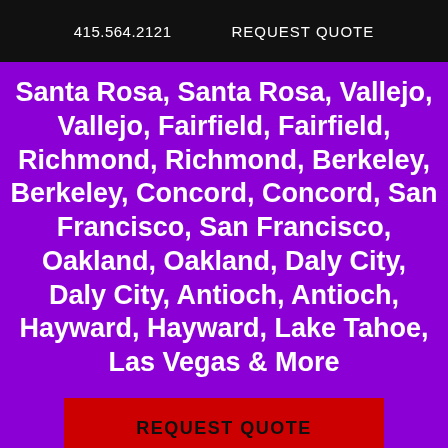415.564.2121   REQUEST QUOTE
Santa Rosa, Santa Rosa, Vallejo, Vallejo, Fairfield, Fairfield, Richmond, Richmond, Berkeley, Berkeley, Concord, Concord, San Francisco, San Francisco, Oakland, Oakland, Daly City, Daly City, Antioch, Antioch, Hayward, Hayward, Lake Tahoe, Las Vegas & More
REQUEST QUOTE
21 Fun Brings The Fun!